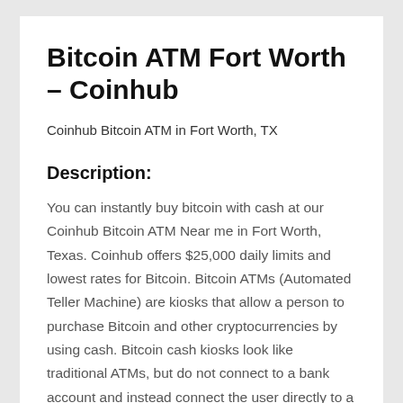Bitcoin ATM Fort Worth – Coinhub
Coinhub Bitcoin ATM in Fort Worth, TX
Description:
You can instantly buy bitcoin with cash at our Coinhub Bitcoin ATM Near me in Fort Worth, Texas. Coinhub offers $25,000 daily limits and lowest rates for Bitcoin. Bitcoin ATMs (Automated Teller Machine) are kiosks that allow a person to purchase Bitcoin and other cryptocurrencies by using cash. Bitcoin cash kiosks look like traditional ATMs, but do not connect to a bank account and instead connect the user directly to a Bitcoin wallet or exchange. Coinhub Bitcoin machines